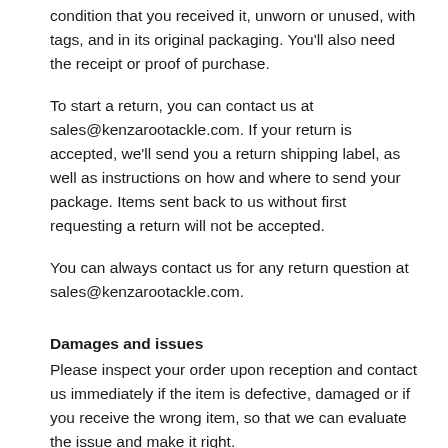condition that you received it, unworn or unused, with tags, and in its original packaging. You'll also need the receipt or proof of purchase.
To start a return, you can contact us at sales@kenzarootackle.com. If your return is accepted, we'll send you a return shipping label, as well as instructions on how and where to send your package. Items sent back to us without first requesting a return will not be accepted.
You can always contact us for any return question at sales@kenzarootackle.com.
Damages and issues
Please inspect your order upon reception and contact us immediately if the item is defective, damaged or if you receive the wrong item, so that we can evaluate the issue and make it right.